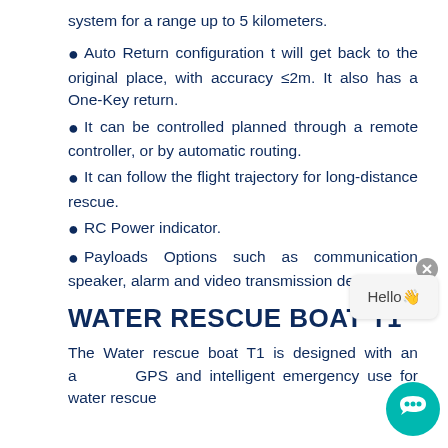system for a range up to 5 kilometers.
Auto Return configuration t will get back to the original place, with accuracy ≤2m. It also has a One-Key return.
It can be controlled planned through a remote controller, or by automatic routing.
It can follow the flight trajectory for long-distance rescue.
RC Power indicator.
Payloads Options such as communication speaker, alarm and video transmission device, etc.
WATER RESCUE BOAT T1
The Water rescue boat T1 is designed with an advanced GPS and intelligent emergency use for water rescue